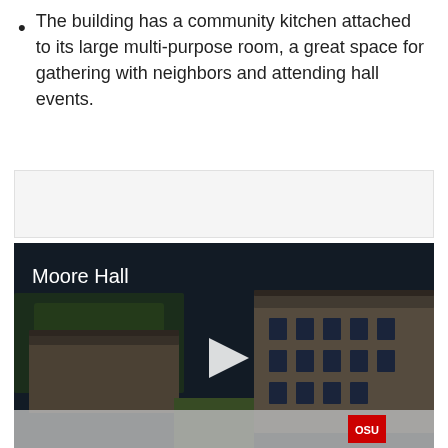The building has a community kitchen attached to its large multi-purpose room, a great space for gathering with neighbors and attending hall events.
[Figure (screenshot): Video thumbnail of Moore Hall aerial campus view with play button overlay and OSU logo in bottom bar]